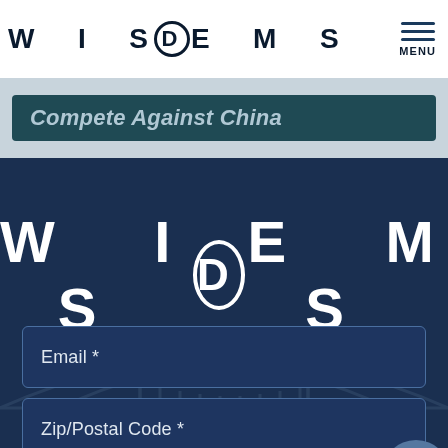[Figure (logo): WISDEMS logo with circled D, top navigation bar]
MENU
Compete Against China
[Figure (logo): WISDEMS large white logo on dark blue background]
Email *
Zip/Postal Code *
Mobile Number, (201) 555-0123
LANGUAGE